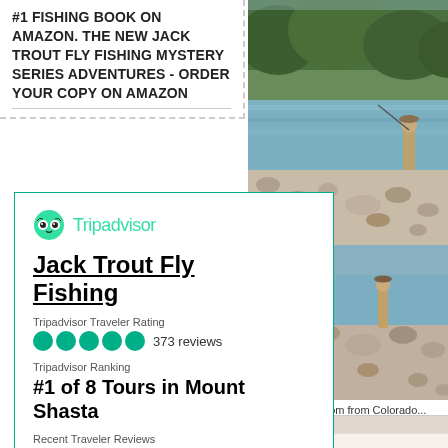#1 FISHING BOOK ON AMAZON. THE NEW JACK TROUT FLY FISHING MYSTERY SERIES ADVENTURES - ORDER YOUR COPY ON AMAZON
[Figure (photo): Outdoor fly fishing scene with a person wading near a rocky riverbank, with green forested hills in the background]
[Figure (screenshot): TripAdvisor widget card for Jack Trout Fly Fishing showing logo, business name, traveler rating of 5 bubbles with 373 reviews, ranking #1 of 8 Tours in Mount Shasta, and recent traveler reviews]
[Figure (photo): Fly fishing photo near rocky riverbank]
with Sally and Tom from Colorado...